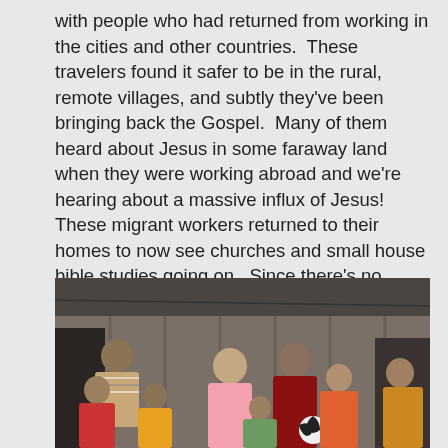with people who had returned from working in the cities and other countries.  These travelers found it safer to be in the rural, remote villages, and subtly they've been bringing back the Gospel.  Many of them heard about Jesus in some faraway land when they were working abroad and we're hearing about a massive influx of Jesus!  These migrant workers returned to their homes to now see churches and small house bible studies going on.  Since there's no work, it allows for free time where they can attend the Bible studies.  Our students are taking the opportunities that have been set before them and are beginning to see Hindus come to Christ.
[Figure (photo): A group of people, including adults and children, standing in front of a corrugated metal building. One woman is wearing a pink top. A child is holding a soccer ball.]